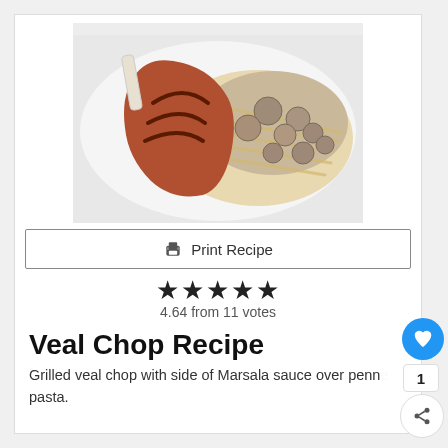[Figure (photo): Grilled veal chop with mushroom Marsala sauce over penne pasta on a white plate]
Print Recipe
★★★★★ 4.64 from 11 votes
Veal Chop Recipe
Grilled veal chop with side of Marsala sauce over penne pasta.